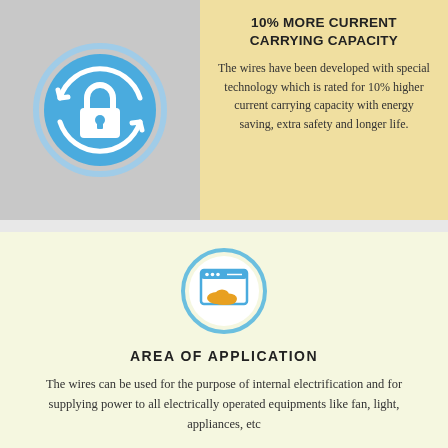[Figure (illustration): Blue circular icon with lock and refresh arrows on grey background]
10% MORE CURRENT CARRYING CAPACITY
The wires have been developed with special technology which is rated for 10% higher current carrying capacity with energy saving, extra safety and longer life.
[Figure (illustration): Blue circular icon with browser/cloud symbol on light yellow background]
AREA OF APPLICATION
The wires can be used for the purpose of internal electrification and for supplying power to all electrically operated equipments like fan, light, appliances, etc